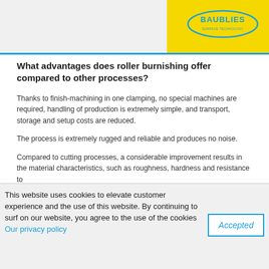[Figure (logo): Baublies logo on yellow triangular background in top-right corner]
What advantages does roller burnishing offer compared to other processes?
Thanks to finish-machining in one clamping, no special machines are required, handling of production is extremely simple, and transport, storage and setup costs are reduced.
The process is extremely rugged and reliable and produces no noise.
Compared to cutting processes, a considerable improvement results in the material characteristics, such as roughness, hardness and resistance to
This website uses cookies to elevate customer experience and the use of this website. By continuing to surf on our website, you agree to the use of the cookies Our privacy policy